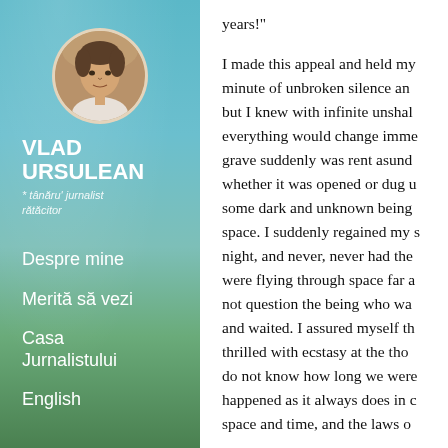[Figure (photo): Left sidebar with blue-green gradient background showing sky and foliage. Contains a circular author photo of a young man, author name VLAD URSULEAN, tagline '* tânăru' jurnalist rătăcitor', and navigation links: Despre mine, Merită să vezi, Casa Jurnalistului, English.]
years!"
I made this appeal and held my minute of unbroken silence an but I knew with infinite unshal everything would change imme grave suddenly was rent asund whether it was opened or dug u some dark and unknown being space. I suddenly regained my s night, and never, never had the were flying through space far a not question the being who wa and waited. I assured myself th thrilled with ecstasy at the tho do not know how long we were happened as it always does in c space and time, and the laws o